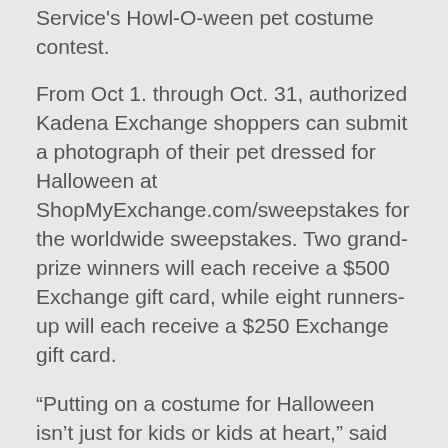Service's Howl-O-ween pet costume contest.
From Oct 1. through Oct. 31, authorized Kadena Exchange shoppers can submit a photograph of their pet dressed for Halloween at ShopMyExchange.com/sweepstakes for the worldwide sweepstakes. Two grand-prize winners will each receive a $500 Exchange gift card, while eight runners-up will each receive a $250 Exchange gift card.
“Putting on a costume for Halloween isn’t just for kids or kids at heart,” said Kadena Exchange Store Manager Flordeliza Payton. “This contest is a great way for Kadena pets to strut down the catwalk and win some prizes for their families. We would be thrilled if a Kadena Exchange shopper took home a grand prize.”